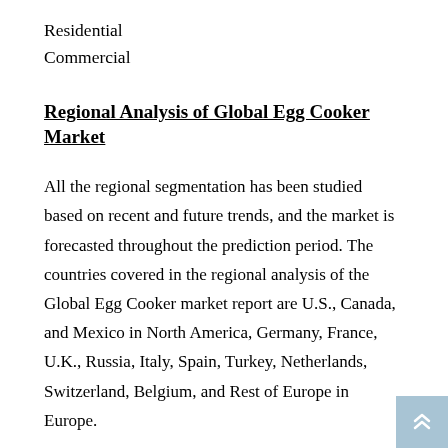Residential
Commercial
Regional Analysis of Global Egg Cooker Market
All the regional segmentation has been studied based on recent and future trends, and the market is forecasted throughout the prediction period. The countries covered in the regional analysis of the Global Egg Cooker market report are U.S., Canada, and Mexico in North America, Germany, France, U.K., Russia, Italy, Spain, Turkey, Netherlands, Switzerland, Belgium, and Rest of Europe in Europe.